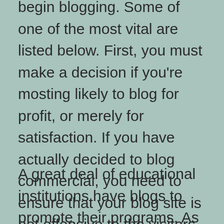begin blogging. Some of one of the most vital are listed below. First, you must make a decision if you're mosting likely to blog for profit, or merely for satisfaction. If you have actually decided to blog commercial, you need to ensure that your blog site is not offensive to the visitors. Blogging is a great way to spread your message as well as make money at the same time.
A great deal of educational institutions have blogs to promote their programs. As an example, the Bruin Blog of UCLA informs the stories of pupils from all walks of life. It also